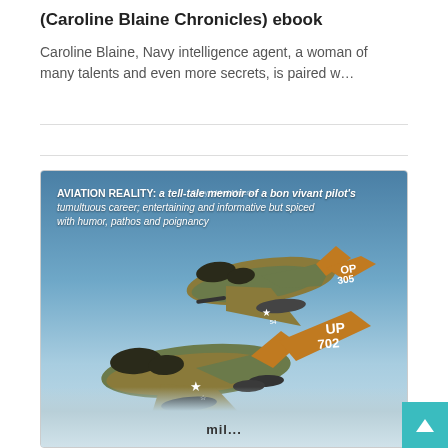(Caroline Blaine Chronicles) ebook
Caroline Blaine, Navy intelligence agent, a woman of many talents and even more secrets, is paired w…
[Figure (photo): Book cover for 'AVIATION REALITY: a tell-tale memoir of a bon vivant pilot's tumultuous career; entertaining and informative but spiced with humor, pathos and poignancy'. The cover shows two military jet aircraft (F-4 Phantoms) in camouflage paint flying above clouds and mountains. The tail number 702 is visible on one aircraft.]